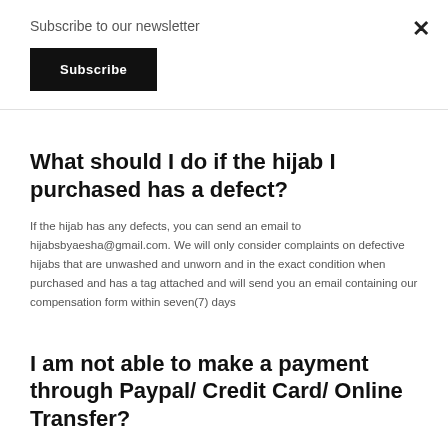Subscribe to our newsletter
Subscribe
What should I do if the hijab I purchased has a defect?
If the hijab has any defects, you can send an email to hijabsbyaesha@gmail.com. We will only consider complaints on defective hijabs that are unwashed and unworn and in the exact condition when purchased and has a tag attached and will send you an email containing our compensation form within seven(7) days
I am not able to make a payment through Paypal/ Credit Card/ Online Transfer?
We will check and troubleshoot the system and we will inform you as soon as the system is ok and the issue is resolved. If it still doesn't work, you can make a bank deposit and mail us the receipt.